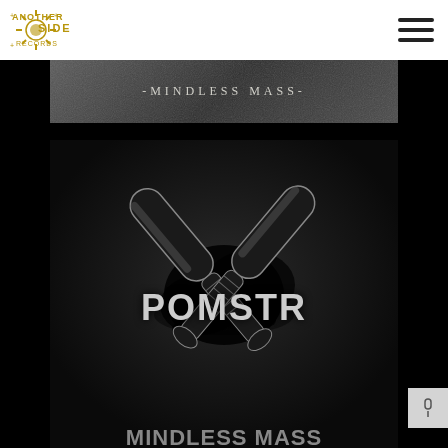[Figure (logo): Another Side Records logo — decorative gold/yellow text and sun graphic]
[Figure (other): Hamburger menu icon (three horizontal lines)]
-MINDLESS MASS-
[Figure (illustration): Album art for 'Pomstn' / Mindless Mass — two crossed baseball bats with grunge-style band logo text on dark background]